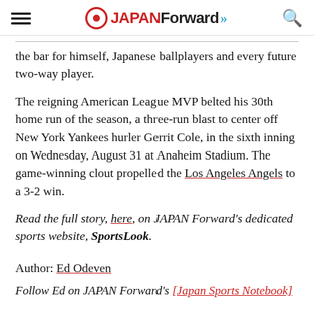JAPAN Forward
the bar for himself, Japanese ballplayers and every future two-way player.
The reigning American League MVP belted his 30th home run of the season, a three-run blast to center off New York Yankees hurler Gerrit Cole, in the sixth inning on Wednesday, August 31 at Anaheim Stadium. The game-winning clout propelled the Los Angeles Angels to a 3-2 win.
Read the full story, here, on JAPAN Forward's dedicated sports website, SportsLook.
Author: Ed Odeven
Follow Ed on JAPAN Forward's [Japan Sports Notebook]